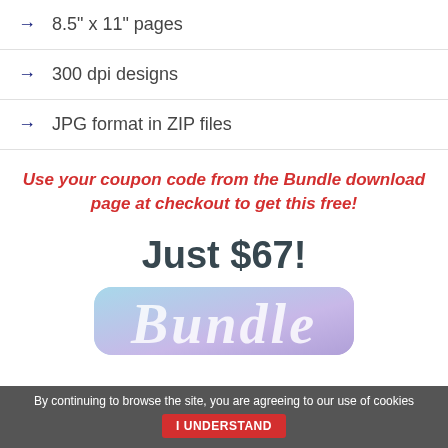8.5" x 11" pages
300 dpi designs
JPG format in ZIP files
Use your coupon code from the Bundle download page at checkout to get this free!
Just $67!
[Figure (illustration): Bundle product image with script text in a gradient blue-purple rounded rectangle]
By continuing to browse the site, you are agreeing to our use of cookies  I UNDERSTAND